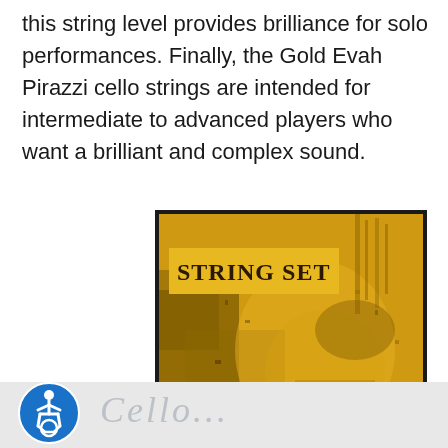this string level provides brilliance for solo performances. Finally, the Gold Evah Pirazzi cello strings are intended for intermediate to advanced players who want a brilliant and complex sound.
[Figure (photo): Gold-toned product image of a Pirastro Evah Pirazzi Gold cello string set package. Shows a golden-hued face/portrait in the background with a yellow label rectangle in the upper left reading 'STRING SET' in serif font.]